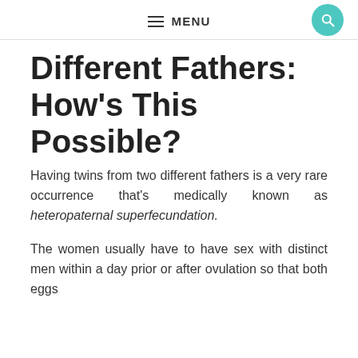MENU
Different Fathers: How's This Possible?
Having twins from two different fathers is a very rare occurrence that's medically known as heteropaternal superfecundation.
The women usually have to have sex with distinct men within a day prior or after ovulation so that both eggs